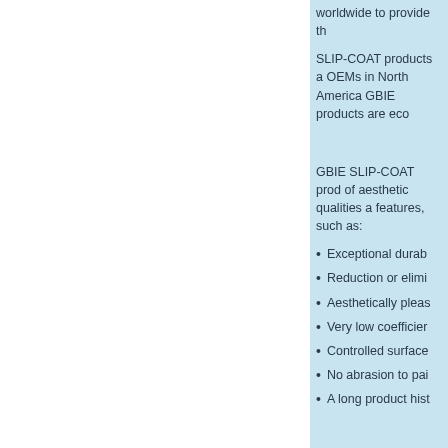worldwide to provide th
SLIP-COAT products a OEMs in North America GBIE products are eco
GBIE SLIP-COAT prod of aesthetic qualities a features, such as:
Exceptional durab
Reduction or elimi
Aesthetically pleas
Very low coefficier
Controlled surface
No abrasion to pai
A long product hist